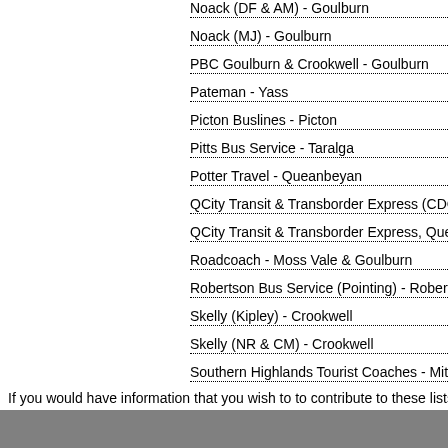Noack (DF & AM) - Goulburn
Noack (MJ) - Goulburn
PBC Goulburn & Crookwell - Goulburn
Pateman - Yass
Picton Buslines - Picton
Pitts Bus Service - Taralga
Potter Travel - Queanbeyan
QCity Transit & Transborder Express (CDC G…
QCity Transit & Transborder Express, Quean…
Roadcoach - Moss Vale & Goulburn
Robertson Bus Service (Pointing) - Robertso…
Skelly (Kipley) - Crookwell
Skelly (NR & CM) - Crookwell
Southern Highlands Tourist Coaches - Mittag…
If you would have information that you wish to to contribute to these lists, or an…